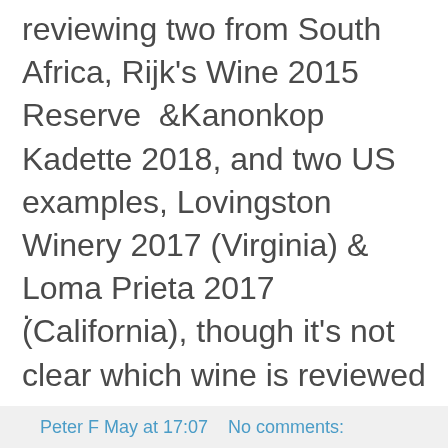reviewing two from South Africa, Rijk's Wine 2015 Reserve  & Kanonkop Kadette 2018, and two US examples, Lovingston Winery 2017 (Virginia) & Loma Prieta 2017 (California), though it's not clear which wine is reviewed as Loma Prieta make single vineyard bottlings from different places and the review is illustrated by two reds from different vintages but not 2017 and a sparkling white Pinotage.
.
Peter F May at 17:07    No comments: